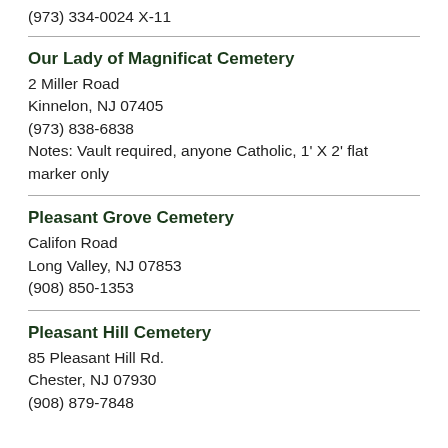(973) 334-0024 X-11
Our Lady of Magnificat Cemetery
2 Miller Road
Kinnelon, NJ 07405
(973) 838-6838
Notes: Vault required, anyone Catholic, 1' X 2' flat marker only
Pleasant Grove Cemetery
Califon Road
Long Valley, NJ 07853
(908) 850-1353
Pleasant Hill Cemetery
85 Pleasant Hill Rd.
Chester, NJ 07930
(908) 879-7848